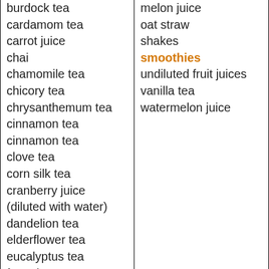burdock tea
cardamom tea
carrot juice
chai
chamomile tea
chicory tea
chrysanthemum tea
cinnamon tea
cinnamon tea
clove tea
corn silk tea
cranberry juice (diluted with water)
dandelion tea
elderflower tea
eucalyptus tea
fennel tea
fennel tea
fenugreek tea
ginger tea
melon juice
oat straw
shakes
smoothies
undiluted fruit juices
vanilla tea
watermelon juice